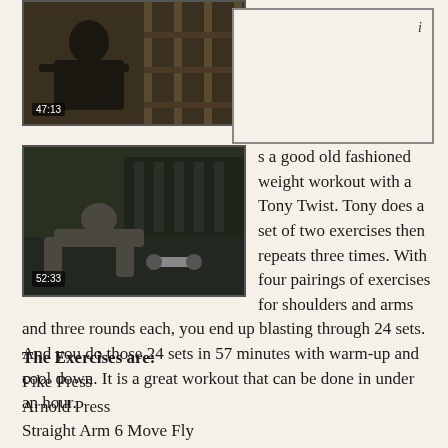[Figure (photo): Video thumbnail of a person in a gym, timestamp 47:13]
[Figure (other): Empty box with 'i' label in top right corner]
s a good old fashioned weight workout with a Tony Twist. Tony does a set of two exercises then repeats three times. With four pairings of exercises for shoulders and arms and three rounds each, you end up blasting through 24 sets. And you do those 24 sets in 57 minutes with warm-up and cool down. It is a great workout that can be done in under an hour.
[Figure (photo): Video thumbnail of a person doing push-ups in a gym with dumbbells, timestamp 52:33]
The Exercises are:
Pike Press
Arnold Press
Straight Arm 6 Move Fly
Seated Flies